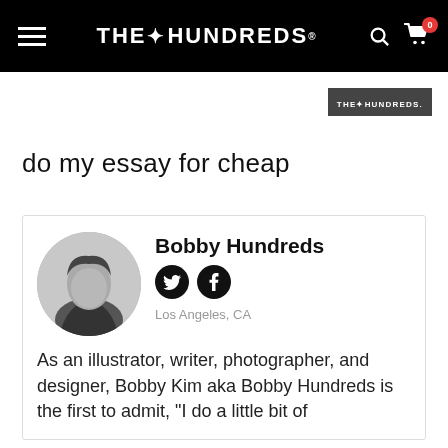THE HUNDREDS
[Figure (logo): The Hundreds brand logo in white text on dark grey background, top right area]
do my essay for cheap
Bobby Hundreds
Los Angeles, CA
As an illustrator, writer, photographer, and designer, Bobby Kim aka Bobby Hundreds is the first to admit, "I do a little bit of
[Figure (photo): Black and white circular profile photo of Bobby Hundreds, a young man looking at the camera]